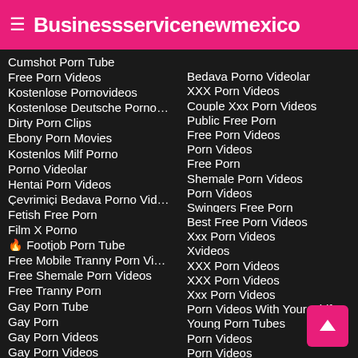≡ Businessservicenewmexico
Cumshot Porn Tube
Free Porn Videos
Kostenlose Pornovideos
Kostenlose Deutsche Pornofil...
Dirty Porn Clips
Ebony Porn Movies
Kostenlos Milf Porno
Porno Videolar
Hentai Porn Videos
Çevrimiçi Bedava Porno Video...
Fetish Free Porn
Film X Porno
🔥 Footjob Porn Tube
Free Mobile Tranny Porn Videos
Free Shemale Porn Videos
Free Tranny Porn
Gay Porn Tube
Gay Porn
Gay Porn Videos
Gay Porn Videos
Bedava Porno Videolar
XXX Porn Videos
Couple Xxx Porn Videos
Public Free Porn
Free Porn Videos
Porn Videos
Free Porn
Shemale Porn Videos
Porn Videos
Swingers Free Porn
Best Free Porn Videos
Xxx Porn Videos
Xvideos
XXX Porn Videos
XXX Porn Videos
Xxx Porn Videos
Porn Videos With Your Girlfrie...
Young Porn Tubes
Porn Videos
Porn Videos